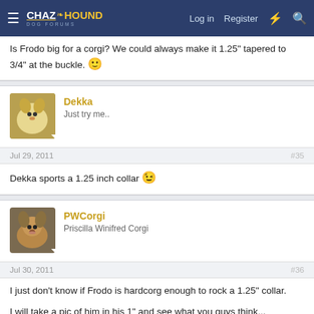ChaZHound Dog Forums — Log in  Register
Is Frodo big for a corgi? We could always make it 1.25" tapered to 3/4" at the buckle. 🙂
Dekka
Just try me..
Jul 29, 2011  #35
Dekka sports a 1.25 inch collar 😉
PWCorgi
Priscilla Winifred Corgi
Jul 30, 2011  #36
I just don't know if Frodo is hardcorg enough to rock a 1.25" collar.

I will take a pic of him in his 1" and see what you guys think...